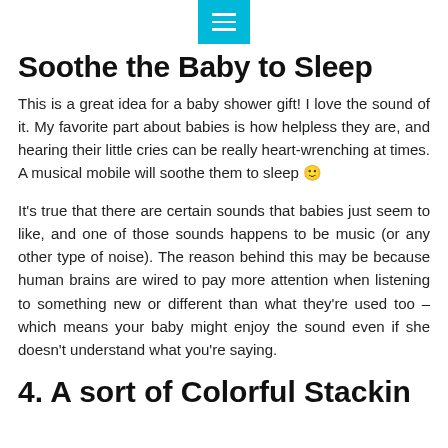menu icon (hamburger)
Soothe the Baby to Sleep
This is a great idea for a baby shower gift! I love the sound of it. My favorite part about babies is how helpless they are, and hearing their little cries can be really heart-wrenching at times. A musical mobile will soothe them to sleep 🙂
It's true that there are certain sounds that babies just seem to like, and one of those sounds happens to be music (or any other type of noise). The reason behind this may be because human brains are wired to pay more attention when listening to something new or different than what they're used too – which means your baby might enjoy the sound even if she doesn't understand what you're saying.
4. A sort of Colorful Stacking